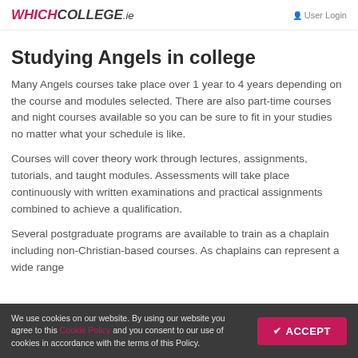WHICHCOLLEGE.ie  User Login
Studying Angels in college
Many Angels courses take place over 1 year to 4 years depending on the course and modules selected. There are also part-time courses and night courses available so you can be sure to fit in your studies no matter what your schedule is like.
Courses will cover theory work through lectures, assignments, tutorials, and taught modules. Assessments will take place continuously with written examinations and practical assignments combined to achieve a qualification.
Several postgraduate programs are available to train as a chaplain including non-Christian-based courses. As chaplains can represent a wide range
We use cookies on our website. By using our website you agree to this Cookie Policy and you consent to our use of cookies in accordance with the terms of this Policy.